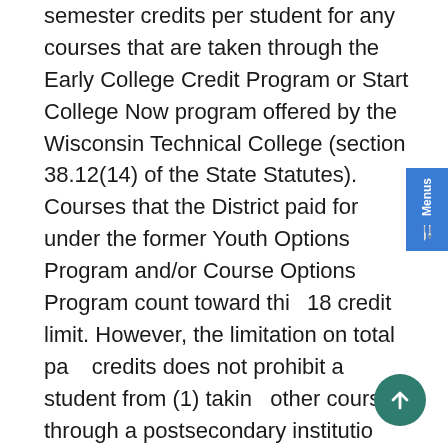semester credits per student for any courses that are taken through the Early College Credit Program or Start College Now program offered by the Wisconsin Technical College (section 38.12(14) of the State Statutes). Courses that the District paid for under the former Youth Options Program and/or Course Options Program count toward this 18 credit limit. However, the limitation on total paid credits does not prohibit a student from (1) taking other courses through a postsecondary institution where the District has authorized the coursework under a separate program or separate source of authority; or (2) taking other District-approved high school courses, outside of the specific State programs, that may result in eligibility for postsecondary credit(s).